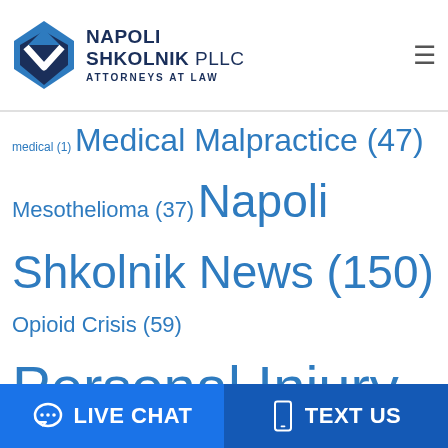Napoli Shkolnik PLLC - Attorneys at Law
medical (1) Medical Malpractice (47) Mesothelioma (37) Napoli Shkolnik News (150) Opioid Crisis (59) Personal Injury (328) Pharmaceutical Litigation (83) Product Litigation (3) sexual harassment (6) Social Security Disability (3) talcum powder (1) Thanksgiving (2) Uncategorized (7) water contamination (1) Westhampton Water (4) Winter Tips (3) Workers Compensation (22) World Trade Center (35)
LIVE CHAT   TEXT US